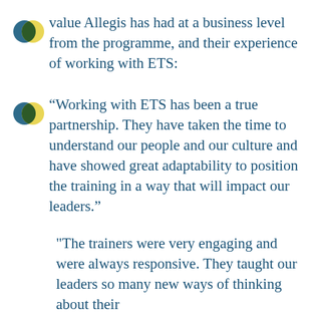value Allegis has had at a business level from the programme, and their experience of working with ETS:
“Working with ETS has been a true partnership. They have taken the time to understand our people and our culture and have showed great adaptability to position the training in a way that will impact our leaders.”
"The trainers were very engaging and were always responsive. They taught our leaders so many new ways of thinking about their